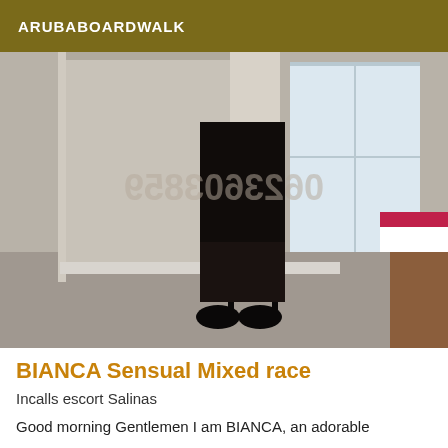ARUBABOARDWALK
[Figure (photo): A person wearing black stockings and high heels standing in a hotel room near curtains and a bed with red bedding. A watermark phone number is visible in the center of the image.]
BIANCA Sensual Mixed race
Incalls escort Salinas
Good morning Gentlemen I am BIANCA, an adorable